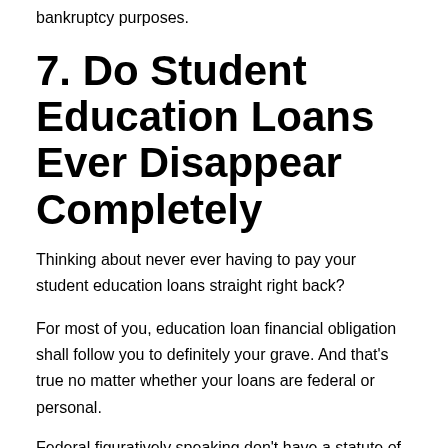bankruptcy purposes.
7. Do Student Education Loans Ever Disappear Completely
Thinking about never ever having to pay your student education loans straight right back?
For most of you, education loan financial obligation shall follow you to definitely your grave. And that’s true no matter whether your loans are federal or personal.
Federal figuratively speaking don’t have a statute of limits